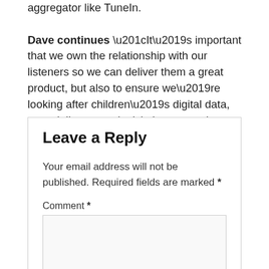aggregator like TuneIn.

Dave continues “It’s important that we own the relationship with our listeners so we can deliver them a great product, but also to ensure we’re looking after children’s digital data, especially as new legislation comes into force this month.”
Leave a Reply
Your email address will not be published. Required fields are marked *
Comment *